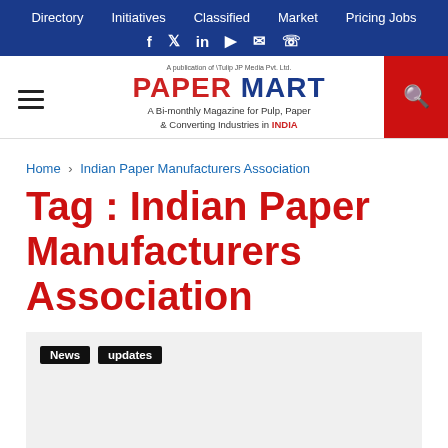Directory  Initiatives  Classified  Market  Pricing Jobs
[Figure (logo): Paper Mart logo — A Bi-monthly Magazine for Pulp, Paper & Converting Industries in INDIA]
Home > Indian Paper Manufacturers Association
Tag : Indian Paper Manufacturers Association
News  updates